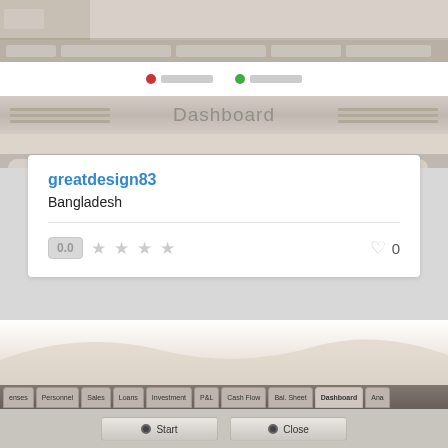[Figure (screenshot): Top screenshot showing a web application dashboard interface with navigation bars, status indicators, and a Dashboard header with decorative lines on both sides. Below is a white card with tab pills.]
greatdesign83
Bangladesh
0.0
0
[Figure (screenshot): Bottom screenshot showing a financial software with a decorative landscape background, a tab bar with labels: enses, Personnel, Sales, Loans, Investment, P&L, Cash Flow, Bal. Sheet, Dashboard, Ana... and Start/Close buttons below. Small footer text reads 'rnadilent Co.']